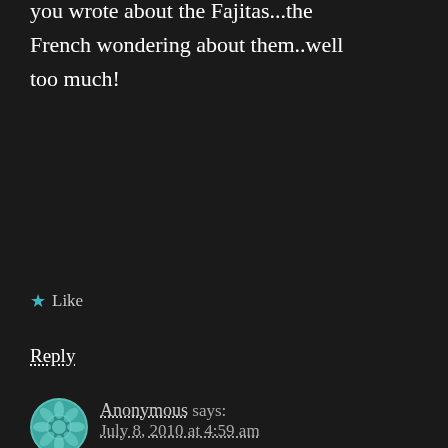you wrote about the Fajitas...the French wondering about them..well too much!
★ Like
Reply
Anonymous says: July 8, 2010 at 4:59 am
You're back!!!! 🙂 YAY for the French being ahead of schedule for once! 😀 Welcome back to the wondeful world of blogging! I do have to ask though